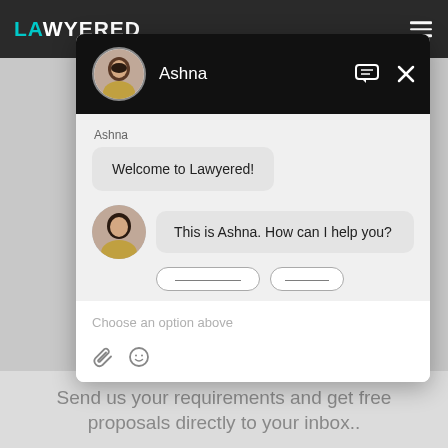[Figure (screenshot): Lawyered website navigation bar with logo and hamburger menu]
[Figure (screenshot): Chat popup window with agent Ashna, showing welcome messages and input area]
Send us your requirements and get free proposals directly to your inbox..